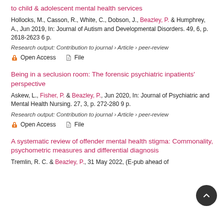to child & adolescent mental health services
Hollocks, M., Casson, R., White, C., Dobson, J., Beazley, P. & Humphrey, A., Jun 2019, In: Journal of Autism and Developmental Disorders. 49, 6, p. 2618-2623 6 p.
Research output: Contribution to journal › Article › peer-review
Open Access   File
Being in a seclusion room: The forensic psychiatric inpatients' perspective
Askew, L., Fisher, P. & Beazley, P., Jun 2020, In: Journal of Psychiatric and Mental Health Nursing. 27, 3, p. 272-280 9 p.
Research output: Contribution to journal › Article › peer-review
Open Access   File
A systematic review of offender mental health stigma: Commonality, psychometric measures and differential diagnosis
Tremlin, R. C. & Beazley, P., 31 May 2022, (E-pub ahead of